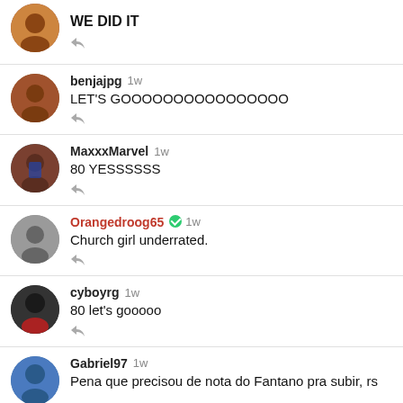WE DID IT
benjajpg 1w
LET'S GOOOOOOOOOOOOOOOO
MaxxxMarvel 1w
80 YESSSSSS
Orangedroog65 ✓ 1w
Church girl underrated.
cyboyrg 1w
80 let's gooooo
Gabriel97 1w
Pena que precisou de nota do Fantano pra subir, rs